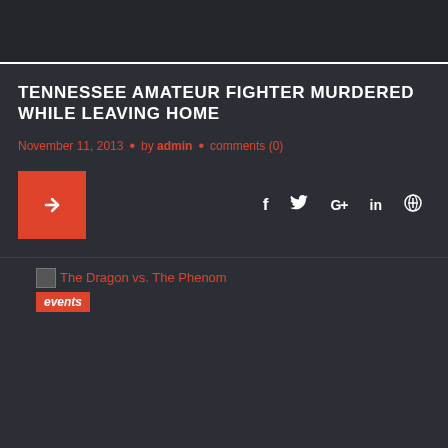TENNESSEE AMATEUR FIGHTER MURDERED WHILE LEAVING HOME
November 11, 2013 • by admin • comments (0)
[Figure (other): Red square button with white right arrow, plus social sharing icons: f (Facebook), Twitter bird, G+, in (LinkedIn), Pinterest]
[Figure (other): Broken image placeholder followed by link text 'The Dragon vs. The Phenom' and a red badge labeled 'events']